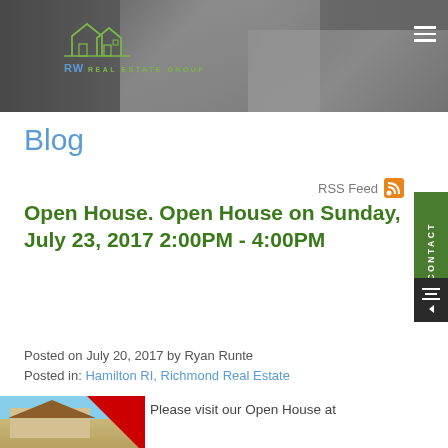[Figure (photo): RW Real Estate Group website header with dark kitchen/interior photo background and company logo]
Blog
RSS Feed
Open House. Open House on Sunday, July 23, 2017 2:00PM - 4:00PM
Posted on July 20, 2017 by Ryan Runte
Posted in: Hamilton RI, Richmond Real Estate
[Figure (photo): House exterior thumbnail with red graphic overlay, beside blog post preview text 'Please visit our Open House at']